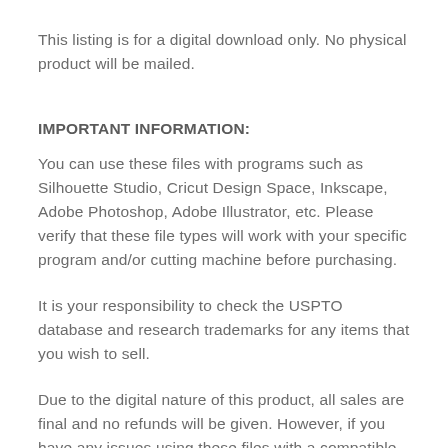This listing is for a digital download only. No physical product will be mailed.
IMPORTANT INFORMATION:
You can use these files with programs such as Silhouette Studio, Cricut Design Space, Inkscape, Adobe Photoshop, Adobe Illustrator, etc. Please verify that these file types will work with your specific program and/or cutting machine before purchasing.
It is your responsibility to check the USPTO database and research trademarks for any items that you wish to sell.
Due to the digital nature of this product, all sales are final and no refunds will be given. However, if you have any issues using these files with a compatible machine